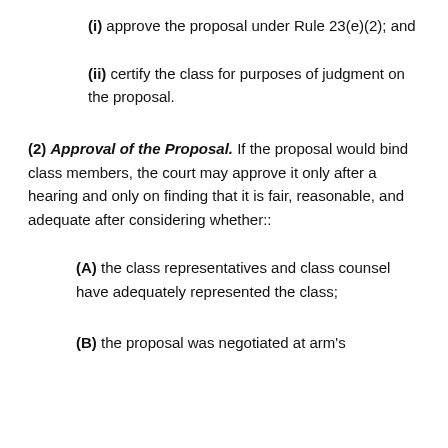(i) approve the proposal under Rule 23(e)(2); and
(ii) certify the class for purposes of judgment on the proposal.
(2) Approval of the Proposal. If the proposal would bind class members, the court may approve it only after a hearing and only on finding that it is fair, reasonable, and adequate after considering whether::
(A) the class representatives and class counsel have adequately represented the class;
(B) the proposal was negotiated at arm's